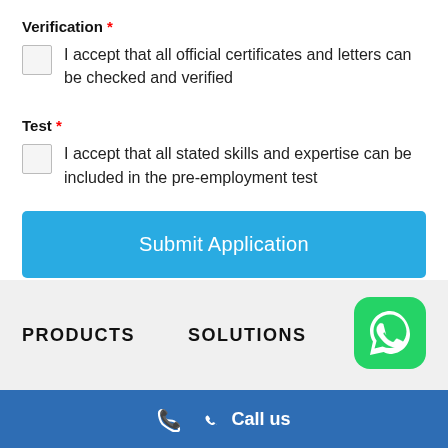Verification *
I accept that all official certificates and letters can be checked and verified
Test *
I accept that all stated skills and expertise can be included in the pre-employment test
Submit Application
PRODUCTS
SOLUTIONS
[Figure (logo): WhatsApp green icon]
Call us